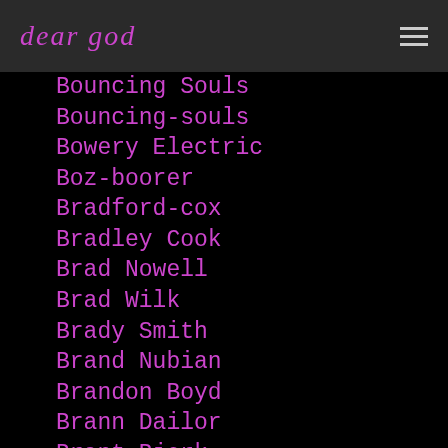dear god
Bouncing Souls
Bouncing-souls
Bowery Electric
Boz-boorer
Bradford-cox
Bradley Cook
Brad Nowell
Brad Wilk
Brady Smith
Brand Nubian
Brandon Boyd
Brann Dailor
Brant Bjork
Brasil
Bratmobile
B Real
Breeders